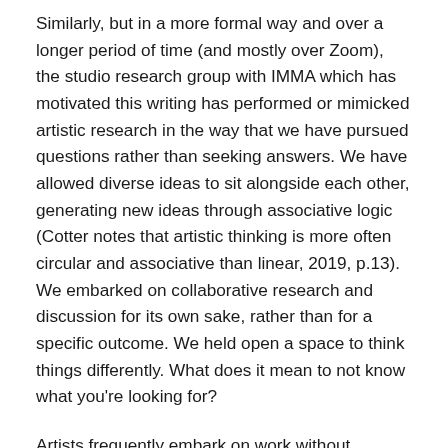Similarly, but in a more formal way and over a longer period of time (and mostly over Zoom), the studio research group with IMMA which has motivated this writing has performed or mimicked artistic research in the way that we have pursued questions rather than seeking answers. We have allowed diverse ideas to sit alongside each other, generating new ideas through associative logic (Cotter notes that artistic thinking is more often circular and associative than linear, 2019, p.13). We embarked on collaborative research and discussion for its own sake, rather than for a specific outcome. We held open a space to think things differently. What does it mean to not know what you're looking for?
Artists frequently embark on work without knowing